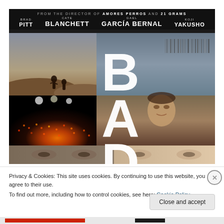[Figure (photo): Movie poster for 'Babel' directed by Alejandro González Iñárritu. Top credits bar reads 'FROM THE DIRECTOR OF AMORES PERROS AND 21 GRAMS'. Actor names listed: BRAD PITT, CATE BLANCHETT, GAEL GARCÍA BERNAL, KOJI YAKUSHO. Poster shows composite of scenes: desert landscape with figures, highway traffic lights at night, young man portrait, close-up eyes, with large letters B-A-D visible. Barcode visible in top right.]
Privacy & Cookies: This site uses cookies. By continuing to use this website, you agree to their use.
To find out more, including how to control cookies, see here: Cookie Policy
Close and accept